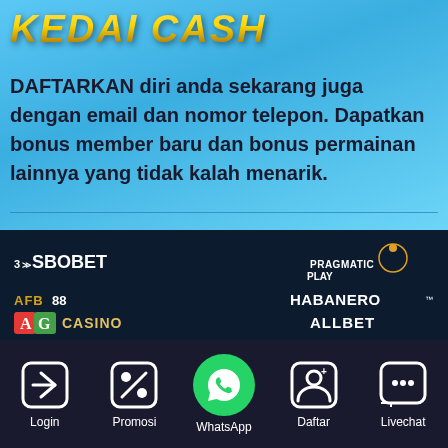KEDAI CASH
DAFTARKAN diri anda sekarang juga dengan email dan nomor telepon. Dapatkan bonus member baru dan bonus permainan lainnya yang tidak kalah menarik.
[Figure (logo): Partner brand logos: SBOBET, Pragmatic Play, AFB88, Habanero, AG Casino, Allbet on dark background]
Login | Promosi | WhatsApp | Daftar | Livechat